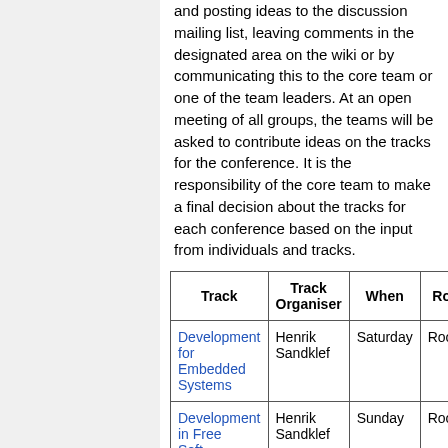and posting ideas to the discussion mailing list, leaving comments in the designated area on the wiki or by communicating this to the core team or one of the team leaders. At an open meeting of all groups, the teams will be asked to contribute ideas on the tracks for the conference. It is the responsibility of the core team to make a final decision about the tracks for each conference based on the input from individuals and tracks.
| Track | Track Organiser | When | Room |
| --- | --- | --- | --- |
| Development for Embedded Systems | Henrik Sandklef | Saturday | Room 2 |
| Development in Free Soft... | Henrik Sandklef | Sunday | Room... |